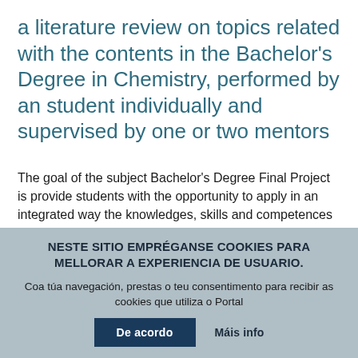a literature review on topics related with the contents in the Bachelor's Degree in Chemistry, performed by an student individually and supervised by one or two mentors
The goal of the subject Bachelor's Degree Final Project is provide students with the opportunity to apply in an integrated way the knowledges, skills and competences acquired during their Bachelor's Degree.
The final phase of the project consists on the development and presentation of a written report and a
NESTE SITIO EMPRÉGANSE COOKIES PARA MELLORAR A EXPERIENCIA DE USUARIO.
Coa túa navegación, prestas o teu consentimento para recibir as cookies que utiliza o Portal